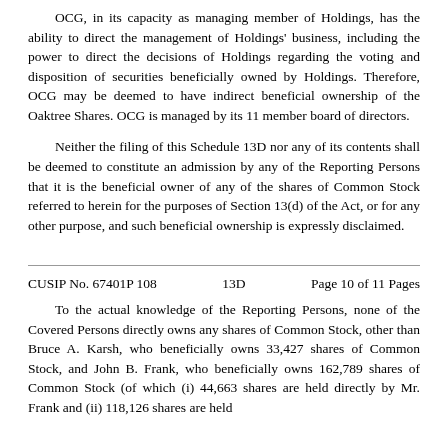OCG, in its capacity as managing member of Holdings, has the ability to direct the management of Holdings' business, including the power to direct the decisions of Holdings regarding the voting and disposition of securities beneficially owned by Holdings. Therefore, OCG may be deemed to have indirect beneficial ownership of the Oaktree Shares. OCG is managed by its 11 member board of directors.
Neither the filing of this Schedule 13D nor any of its contents shall be deemed to constitute an admission by any of the Reporting Persons that it is the beneficial owner of any of the shares of Common Stock referred to herein for the purposes of Section 13(d) of the Act, or for any other purpose, and such beneficial ownership is expressly disclaimed.
CUSIP No. 67401P 108     13D     Page 10 of 11 Pages
To the actual knowledge of the Reporting Persons, none of the Covered Persons directly owns any shares of Common Stock, other than Bruce A. Karsh, who beneficially owns 33,427 shares of Common Stock, and John B. Frank, who beneficially owns 162,789 shares of Common Stock (of which (i) 44,663 shares are held directly by Mr. Frank and (ii) 118,126 shares are held